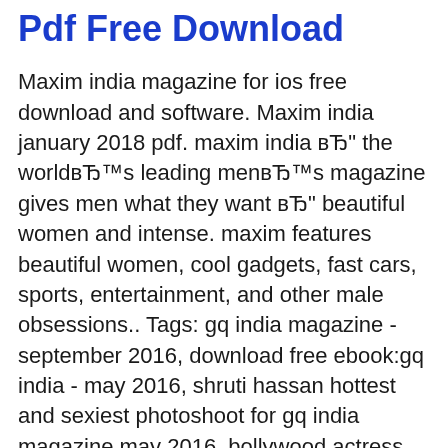Pdf Free Download
Maxim india magazine for ios free download and software. Maxim india january 2018 pdf. maxim india вЂ" the worldвЂ™s leading menвЂ™s magazine gives men what they want вЂ" beautiful women and intense. maxim features beautiful women, cool gadgets, fast cars, sports, entertainment, and other male obsessions.. Tags: gq india magazine - september 2016, download free ebook:gq india - may 2016, shruti hassan hottest and sexiest photoshoot for gq india magazine may 2016, bollywood actress shruti haasan in a red hot latex dress for gq india magazine's may 2016 edition photo shoot, shruti